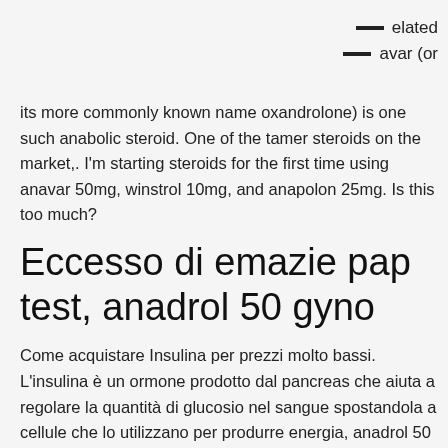elated
avar (or
its more commonly known name oxandrolone) is one such anabolic steroid. One of the tamer steroids on the market,. I'm starting steroids for the first time using anavar 50mg, winstrol 10mg, and anapolon 25mg. Is this too much?
Eccesso di emazie pap test, anadrol 50 gyno
Come acquistare Insulina per prezzi molto bassi. L'insulina è un ormone prodotto dal pancreas che aiuta a regolare la quantità di glucosio nel sangue spostandola a cellule che lo utilizzano per produrre energia, anadrol 50 en farmacias guadalajara. Il glucosio è uno zucchero che viene dai carboidrati che mangiamo. Tutti hanno bisogno di una certa quantità di glucosio per fornire energia, ma quando il pancreas non